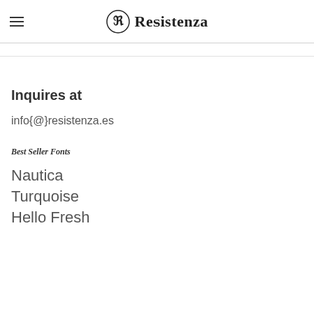Resistenza
Inquires at
info{@}resistenza.es
Best Seller Fonts
Nautica
Turquoise
Hello Fresh